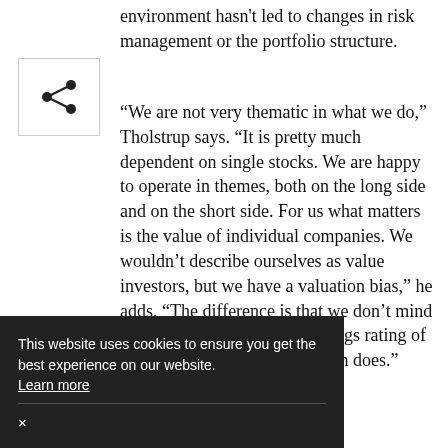environment hasn't led to changes in risk management or the portfolio structure.
[Figure (other): Share/social icon button in a bordered box]
“We are not very thematic in what we do,” Tholstrup says. “It is pretty much dependent on single stocks. We are happy to operate in themes, both on the long side and on the short side. For us what matters is the value of individual companies. We wouldn’t describe ourselves as value investors, but we have a valuation bias,” he adds. “The difference is that we don’t mind buying things on a price/earnings rating of 20 if it makes sense and it often does.”
Low portfolio turnover
io means that vestment case ets. Since ottom up stock io, on an averaged basis, is turned over only about twice annually.
This website uses cookies to ensure you get the best experience on our website. Learn more ×